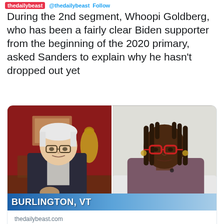thedailybeast @thedailybeast Follow
During the 2nd segment, Whoopi Goldberg, who has been a fairly clear Biden supporter from the beginning of the 2020 primary, asked Sanders to explain why he hasn't dropped out yet
[Figure (screenshot): Split-screen video showing Bernie Sanders on the left (older white man with white hair, dark suit, speaking, with red wall background) and Whoopi Goldberg on the right (Black woman with dreadlocks, red glasses, mauve/purple top, white background). A news chyron bar reads BURLINGTON, VT.]
thedailybeast.com
Whoopi Spars With Bernie Sanders: 'Why Are You Still in the Race?'